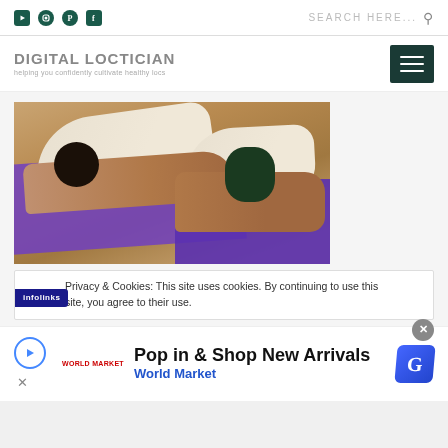Digital Loctician - helping you confidently cultivate healthy locs
[Figure (photo): Two women doing child's pose yoga on purple mats on a wooden floor]
Privacy & Cookies: This site uses cookies. By continuing to use this site, you agree to their use.
Pop in & Shop New Arrivals
World Market